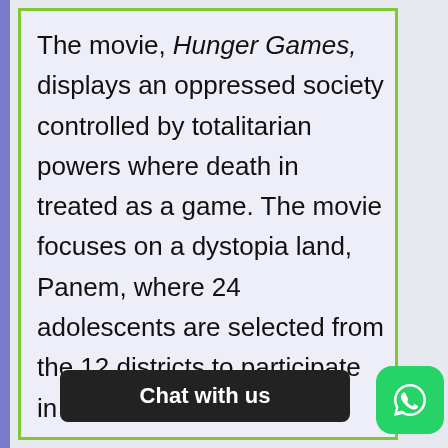The movie, Hunger Games, displays an oppressed society controlled by totalitarian powers where death in treated as a game. The movie focuses on a dystopia land, Panem, where 24 adolescents are selected from the 12 districts to participate in a live death broadcast match called, yes, The Hunger Games. The movie is co... add... ions.